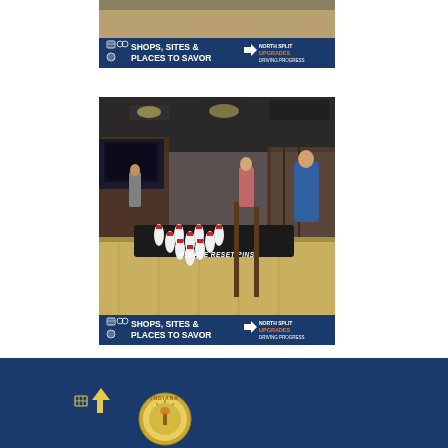[Figure (photo): Top portion of a bowling alley interior with 'Shops, Sites & Places to Savor' North Split Upgrades banner overlay at the bottom of the photo]
[Figure (photo): Interior of a bowling alley showing lanes with duckpin-style bowling pins on a black platform with 'PLEASE RESET PINS' text, wooden lane dividers, people in background, and 'Shops, Sites & Places to Savor / North Split Upgrades Driving Progress' banner at bottom]
[Figure (logo): Page footer with dark navy blue background showing North Split icon in yellow and Indiana state seal/logo]